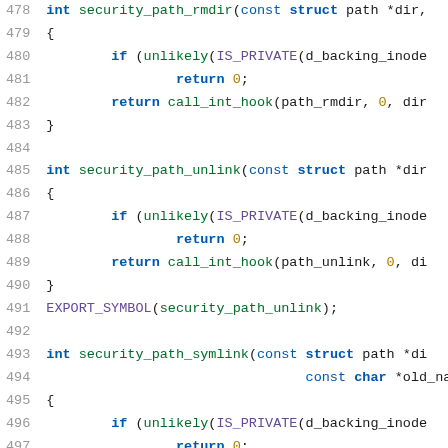[Figure (screenshot): Source code listing showing C functions security_path_rmdir, security_path_unlink, and security_path_symlink with line numbers 478-499]